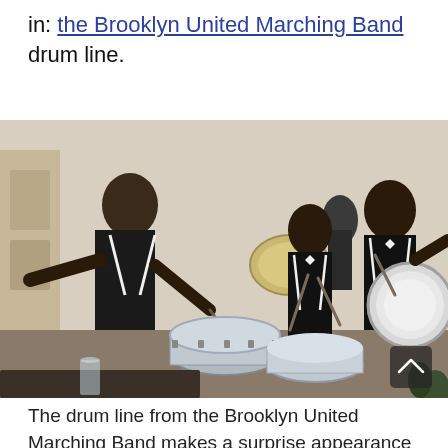in: the Brooklyn United Marching Band drum line.
[Figure (photo): Members of the Brooklyn United Marching Band drum line performing indoors, wearing black uniforms with white bow ties and suspenders, playing snare drums and bass drums in what appears to be a restaurant or gallery space.]
The drum line from the Brooklyn United Marching Band makes a surprise appearance at my birthday